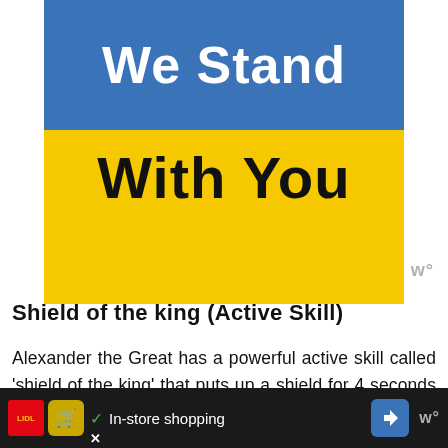[Figure (illustration): A banner image with Ukrainian flag colors — blue top half with white bold text 'We Stand' and yellow bottom half with black bold text 'With You']
Shield of the king (Active Skill)
Alexander the Great has a powerful active skill called 'shield of the king' that puts up a shield for 4 seconds and simultaneously puts up a smaller shield for other friendly armies for two seconds. It is also important to note that Alexander's smaller shield cannot be used by his own army. This is a powerful first skill. It gives him the title of one of the best defense commanders in the game
[Figure (infographic): Advertisement bar at bottom: Lidl logo, app icon, checkmark with 'In-store shopping' text, blue arrow navigation icon, Tidal logo]